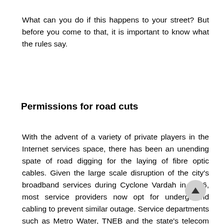What can you do if this happens to your street? But before you come to that, it is important to know what the rules say.
Permissions for road cuts
With the advent of a variety of private players in the Internet services space, there has been an unending spate of road digging for the laying of fibre optic cables. Given the large scale disruption of the city's broadband services during Cyclone Vardah in 2016, most service providers now opt for underground cabling to prevent similar outage. Service departments such as Metro Water, TNEB and the state's telecom service provider BSNL also undertake road digging for respective missions. This has meant that the frequency of road digging has been on the rise.